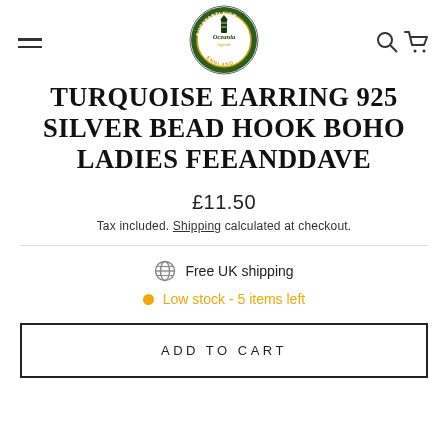[Figure (logo): Oceania Legends Buckfastleigh England circular logo with green and gold colors and a lighthouse icon]
TURQUOISE EARRING 925 SILVER BEAD HOOK BOHO LADIES FEEANDDAVE
£11.50
Tax included. Shipping calculated at checkout.
Free UK shipping
Low stock - 5 items left
ADD TO CART